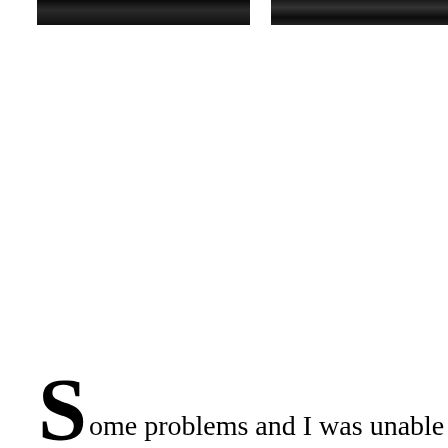[Figure (photo): Two dark/partially visible photographs side by side at the top of the page, appearing to show indoor scenes in very low light.]
Some problems and I was unable to post